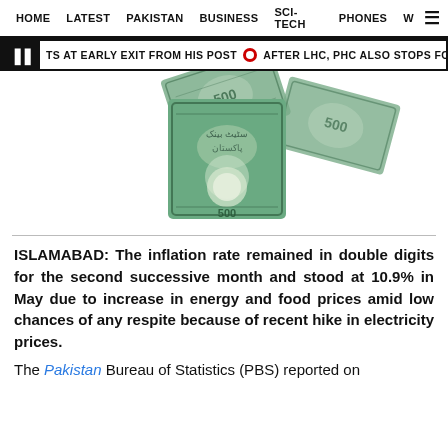HOME  LATEST  PAKISTAN  BUSINESS  SCI-TECH  PHONES  W ☰
TS AT EARLY EXIT FROM HIS POST  •  AFTER LHC, PHC ALSO STOPS FCA COLLECTIO
[Figure (photo): Pakistani currency notes (rupee banknotes) fanned out against white background]
ISLAMABAD: The inflation rate remained in double digits for the second successive month and stood at 10.9% in May due to increase in energy and food prices amid low chances of any respite because of recent hike in electricity prices.
The Pakistan Bureau of Statistics (PBS) reported on